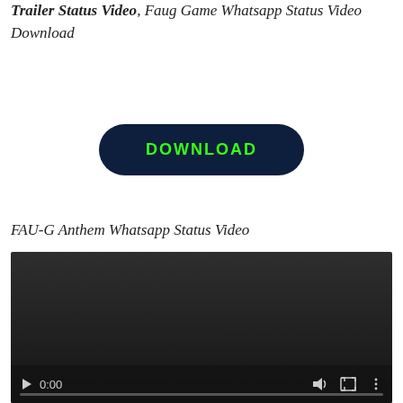Trailer Status Video, Faug Game Whatsapp Status Video Download
[Figure (other): A dark navy blue rounded rectangle button with the text 'DOWNLOAD' in bold green uppercase letters]
FAU-G Anthem Whatsapp Status Video
[Figure (screenshot): An embedded video player with a dark background showing a paused video at 0:00, with playback controls including a play button, timestamp, volume icon, fullscreen icon, and options icon. A progress bar is visible at the bottom.]